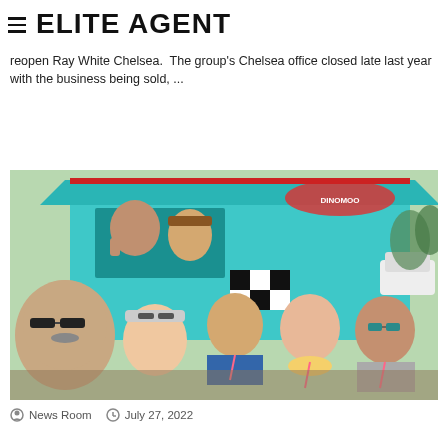ELITE AGENT
reopen Ray White Chelsea.  The group's Chelsea office closed late last year with the business being sold, ...
Read More »
[Figure (photo): Group of people standing in front of a teal food truck/van, smiling at camera. Several people wearing lanyards with pink badges.]
News Room   July 27, 2022